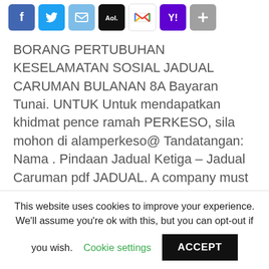[Figure (other): Row of social share icons: Facebook, Twitter, Email, AOL, Gmail, Yahoo, Share/plus button]
BORANG PERTUBUHAN KESELAMATAN SOSIAL JADUAL CARUMAN BULANAN 8A Bayaran Tunai. UNTUK Untuk mendapatkan khidmat pence ramah PERKESO, sila mohon di alamperkeso@ Tandatangan: Nama . Pindaan Jadual Ketiga – Jadual Caruman pdf JADUAL. A company must remit the contribution sum to Perkeso Office before the end of the Asked Questions (FAQs) ·
This website uses cookies to improve your experience. We'll assume you're ok with this, but you can opt-out if you wish. Cookie settings ACCEPT